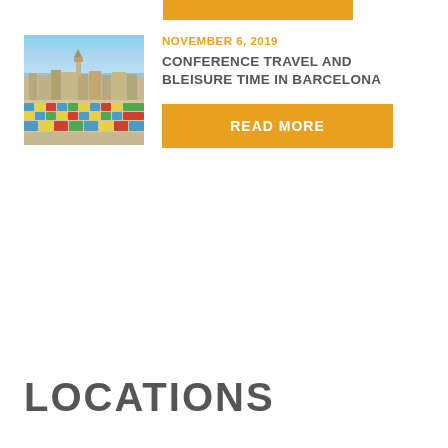[Figure (photo): Aerial view of Barcelona cityscape with colorful mosaic rooftop in the foreground (likely Park Güell), overlooking city buildings and sea in the background]
NOVEMBER 6, 2019
CONFERENCE TRAVEL AND BLEISURE TIME IN BARCELONA
READ MORE
LOCATIONS